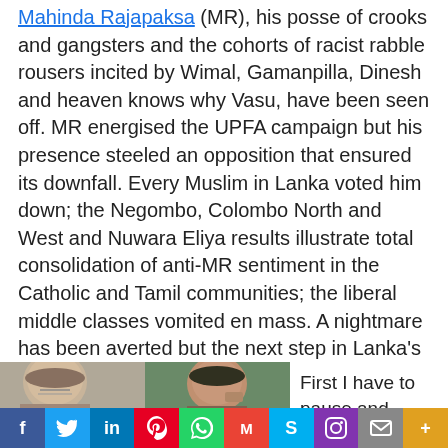Mahinda Rajapaksa (MR), his posse of crooks and gangsters and the cohorts of racist rabble rousers incited by Wimal, Gamanpilla, Dinesh and heaven knows why Vasu, have been seen off. MR energised the UPFA campaign but his presence steeled an opposition that ensured its downfall. Every Muslim in Lanka voted him down; the Negombo, Colombo North and West and Nuwara Eliya results illustrate total consolidation of anti-MR sentiment in the Catholic and Tamil communities; the liberal middle classes vomited en mass. A nightmare has been averted but the next step in Lanka's voyage has not begun. The way ahead is daunting and dimly lit but it would be wrong to greet the new government with cynicism. We must step forth in a positive frame of mind but at the same time not be naïve or have illusions about obstacles on the way.
[Figure (photo): Photo of two men side by side, left man appears older with grey hair, right man has dark hair with hand near face, green background visible on right side]
First I have to pause and congratulate
[Figure (infographic): Social media sharing bar with icons for Facebook, Twitter, LinkedIn, Pinterest, WhatsApp, Gmail, Skype, Instagram, Mail, and More]